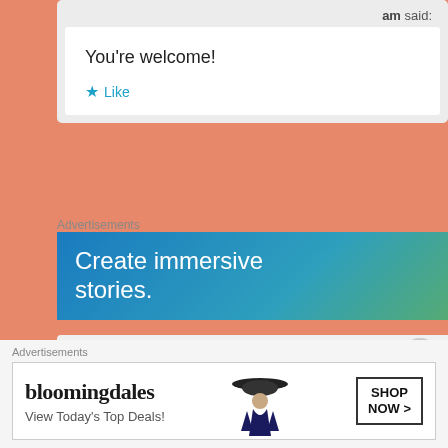am said:
You're welcome!
★ Like
Advertisements
[Figure (infographic): WordPress advertisement banner with gradient background (blue to green-yellow). Text: 'Create immersive stories.' and 'GET THE APP' with WordPress logo.]
[Figure (logo): Green geometric/triangular logo shape inside a comment card with speech bubble tail.]
Advertisements
[Figure (infographic): Bloomingdale's advertisement banner. Shows 'bloomingdales' in serif font, 'View Today's Top Deals!' text, photo of woman in hat, and 'SHOP NOW >' button.]